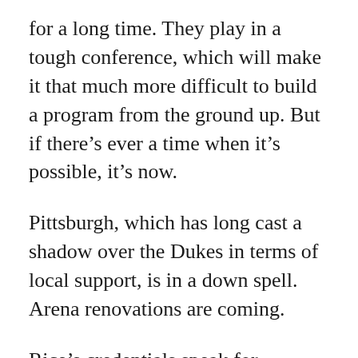for a long time. They play in a tough conference, which will make it that much more difficult to build a program from the ground up. But if there's ever a time when it's possible, it's now.
Pittsburgh, which has long cast a shadow over the Dukes in terms of local support, is in a down spell. Arena renovations are coming.
Rice's credentials speak for themselves.  A Pittsburgh native, Rice spent time at Pitt as an assistant and at nearby Robert Morris as head coach. At RMU, he led the most